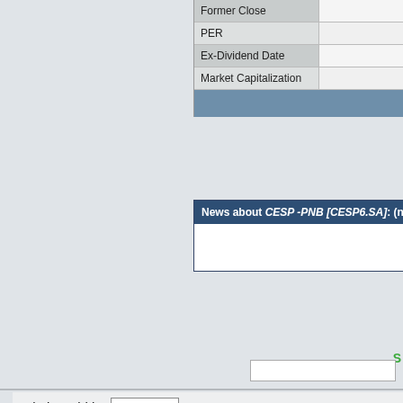| Field | Value |
| --- | --- |
| Former Close |  |
| PER |  |
| Ex-Dividend Date |  |
| Market Capitalization |  |
News about CESP -PNB [CESP6.SA]: (n...
Website Width: 1000 px
Tweet
Background image: Image 05
[Figure (photo): Background texture image strip, pinkish-red textured surface with a light blue-gray curved area at bottom left]
Copyright@2010-20... Investment Forum Stock Quotes Investme...